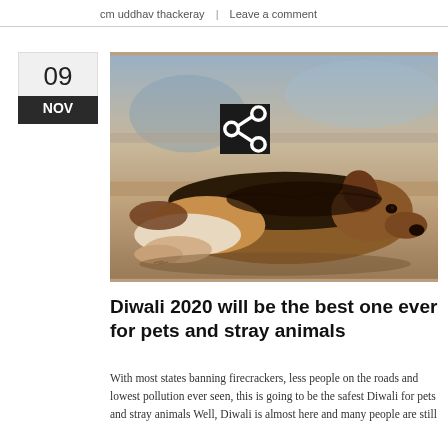cm uddhav thackeray  |  Leave a comment
[Figure (photo): A stray dog lying on a stone pavement surface, resting its head, brown and black fur, shallow depth of field background]
Diwali 2020 will be the best one ever for pets and stray animals
With most states banning firecrackers, less people on the roads and lowest pollution ever seen, this is going to be the safest Diwali for pets and stray animals Well, Diwali is almost here and many people are still